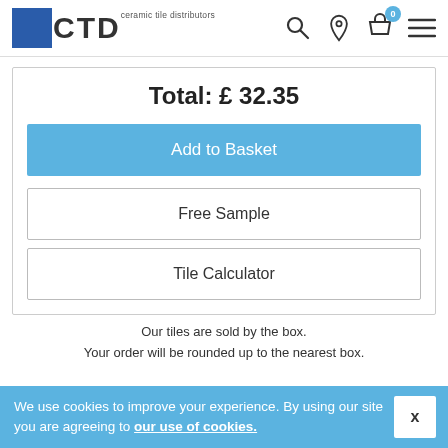CTD ceramic tile distributors
Total: £ 32.35
Add to Basket
Free Sample
Tile Calculator
Our tiles are sold by the box.
Your order will be rounded up to the nearest box.
We use cookies to improve your experience. By using our site you are agreeing to our use of cookies.